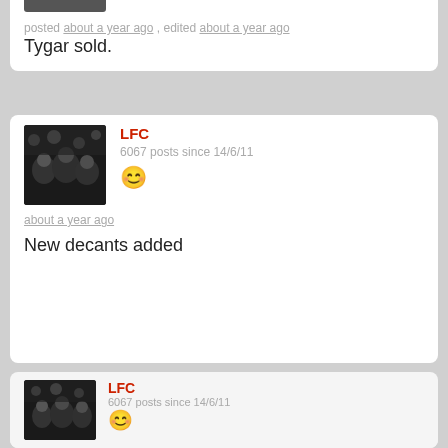posted about a year ago , edited about a year ago
Tygar sold.
LFC
6067 posts since 14/6/11
about a year ago
New decants added
LFC
6067 posts since 14/6/11
about a year ago
Le Lion decants added